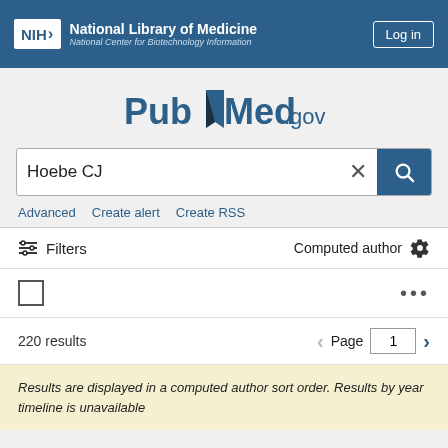NIH National Library of Medicine National Center for Biotechnology Information | Log in
[Figure (logo): PubMed.gov logo with open book graphic]
Hoebe CJ
Advanced   Create alert   Create RSS
Filters   Computed author
220 results   Page 1
Results are displayed in a computed author sort order. Results by year timeline is unavailable